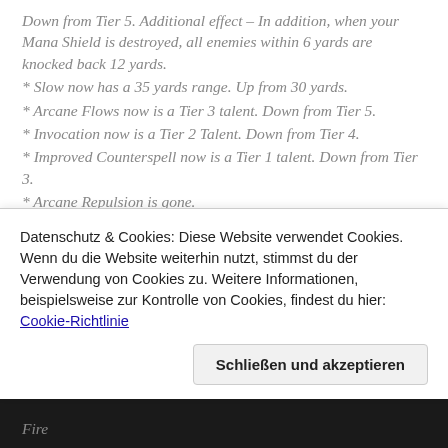Down from Tier 5. Additional effect – In addition, when your Mana Shield is destroyed, all enemies within 6 yards are knocked back 12 yards.
* Slow now has a 35 yards range. Up from 30 yards.
* Arcane Flows now is a Tier 3 talent. Down from Tier 5.
* Invocation now is a Tier 2 Talent. Down from Tier 4.
* Improved Counterspell now is a Tier 1 talent. Down from Tier 3.
* Arcane Repulsion is gone.
* Arcane Concentration is now a 3-rank talents (Up from 2) and now has a 3/6/10% chance to proc.
* Torment the Weak is now a Tier 5 talent. Up
Datenschutz & Cookies: Diese Website verwendet Cookies. Wenn du die Website weiterhin nutzt, stimmst du der Verwendung von Cookies zu. Weitere Informationen, beispielsweise zur Kontrolle von Cookies, findest du hier: Cookie-Richtlinie
Schließen und akzeptieren
Fire